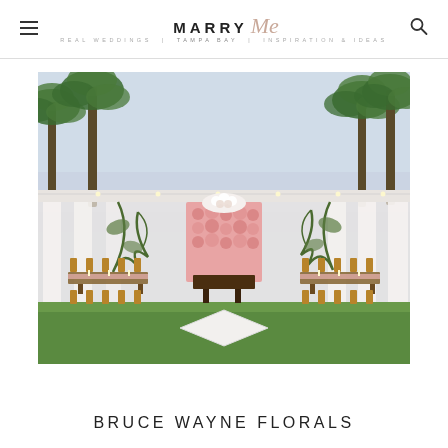MARRY Me TAMPA BAY
[Figure (photo): Outdoor wedding reception setup with white draping, string lights, pink floral wall backdrop, wooden sweetheart table, chiavari chairs, greenery, and a white dance floor on green lawn, with palm trees in background.]
BRUCE WAYNE FLORALS